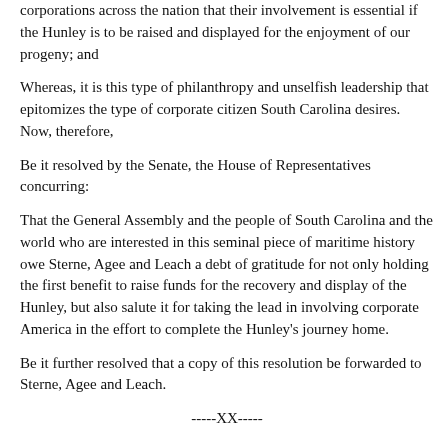corporations across the nation that their involvement is essential if the Hunley is to be raised and displayed for the enjoyment of our progeny; and
Whereas, it is this type of philanthropy and unselfish leadership that epitomizes the type of corporate citizen South Carolina desires. Now, therefore,
Be it resolved by the Senate, the House of Representatives concurring:
That the General Assembly and the people of South Carolina and the world who are interested in this seminal piece of maritime history owe Sterne, Agee and Leach a debt of gratitude for not only holding the first benefit to raise funds for the recovery and display of the Hunley, but also salute it for taking the lead in involving corporate America in the effort to complete the Hunley's journey home.
Be it further resolved that a copy of this resolution be forwarded to Sterne, Agee and Leach.
-----XX-----